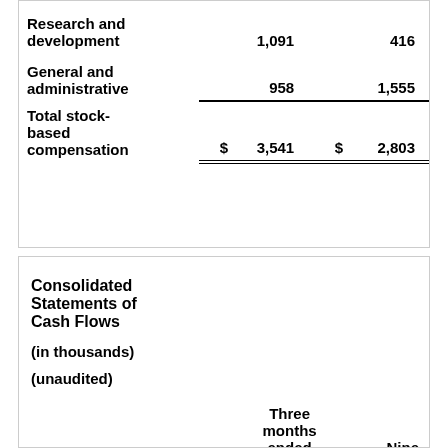|  | $ | 3,541 | $ | 2,803 |
| --- | --- | --- | --- | --- |
| Research and development |  | 1,091 |  | 416 |
| General and administrative |  | 958 |  | 1,555 |
| Total stock-based compensation | $ | 3,541 | $ | 2,803 |
Consolidated Statements of Cash Flows
(in thousands)
(unaudited)
|  | Three months ended | Nine |
| --- | --- | --- |